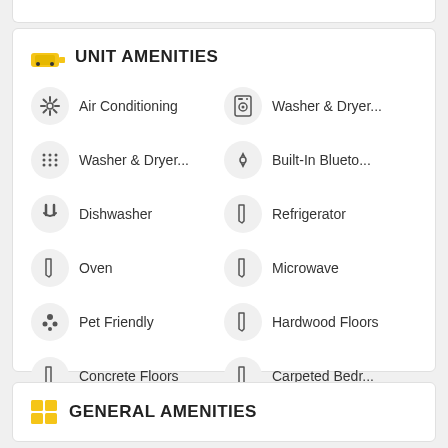UNIT AMENITIES
Air Conditioning
Washer & Dryer...
Washer & Dryer...
Built-In Blueto...
Dishwasher
Refrigerator
Oven
Microwave
Pet Friendly
Hardwood Floors
Concrete Floors
Carpeted Bedr...
GENERAL AMENITIES